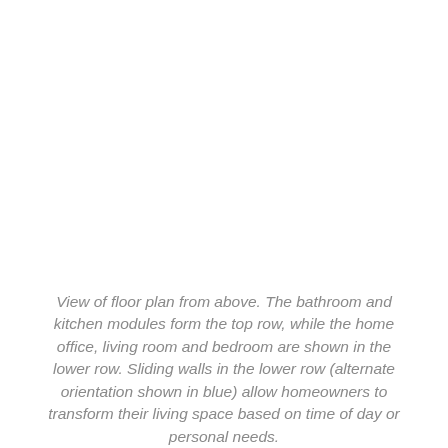View of floor plan from above. The bathroom and kitchen modules form the top row, while the home office, living room and bedroom are shown in the lower row. Sliding walls in the lower row (alternate orientation shown in blue) allow homeowners to transform their living space based on time of day or personal needs.